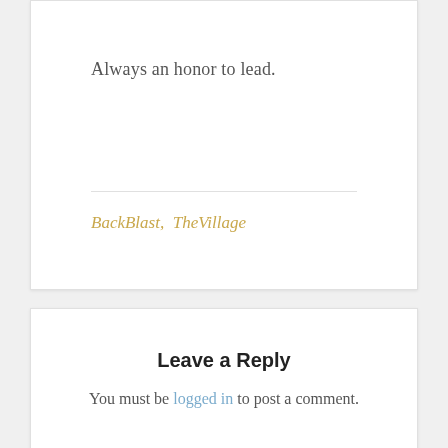Always an honor to lead.
BackBlast,  TheVillage
Leave a Reply
You must be logged in to post a comment.
PREVIOUS
Traveling Man Q